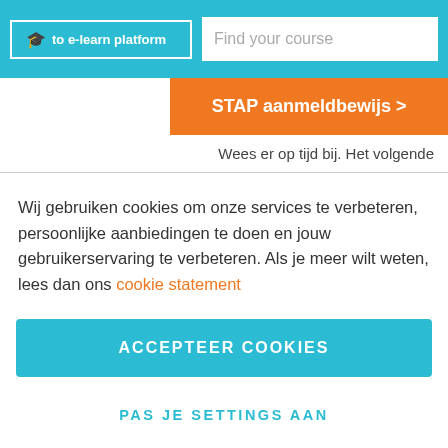to e-learn platform | Find your course
STAP aanmeldbewijs >
Wees er op tijd bij. Het volgende
Wij gebruiken cookies om onze services te verbeteren, persoonlijke aanbiedingen te doen en jouw gebruikerservaring te verbeteren. Als je meer wilt weten, lees dan ons cookie statement
ACCEPTEER COOKIES
PAS JE SETTINGS AAN